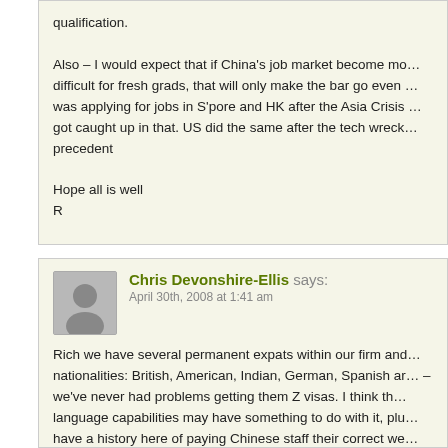qualification.

Also – I would expect that if China's job market become more difficult for fresh grads, that will only make the bar go even higher. I was applying for jobs in S'pore and HK after the Asia Crisis and got caught up in that. US did the same after the tech wreck. Not a new precedent

Hope all is well
R
Chris Devonshire-Ellis says:
April 30th, 2008 at 1:41 am

Rich we have several permanent expats within our firm and of various nationalities: British, American, Indian, German, Spanish and others – we've never had problems getting them Z visas. I think the language capabilities may have something to do with it, plus we have a history here of paying Chinese staff their correct wages, paying our due taxes and so on. It may be just we've been around for awhile and have never been a problem for the authorities so they don't worry about us so much. It may well be more diff...